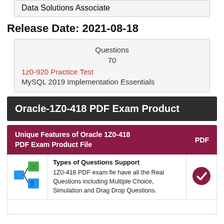Data Solutions Associate
Release Date: 2021-08-18
| Questions |  |
| --- | --- |
| 70 |  |
| 1z0-920 Practice Test |  |
| MySQL 2019 Implementation Essentials |  |
Oracle-1Z0-418 PDF Exam Product
Unique Features of Oracle 1Z0-418 PDF Exam Product File    PDF
[Figure (illustration): Share/branch icon with green and blue squares]
Types of Questions Support
1Z0-418 PDF exam fie have all the Real Questions including Multiple Choice, Simulation and Drag Drop Questions.
[Figure (illustration): Dark red/maroon circle with white checkmark]